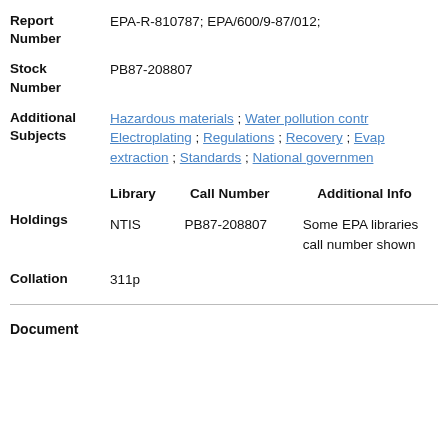| Report Number | EPA-R-810787; EPA/600/9-87/012; |
| Stock Number | PB87-208807 |
| Additional Subjects | Hazardous materials ; Water pollution control ; Electroplating ; Regulations ; Recovery ; Evap extraction ; Standards ; National government |
| Holdings | Library | Call Number | Additional Info
NTIS | PB87-208807 | Some EPA libraries call number shown |
| Collation | 311p |
Document